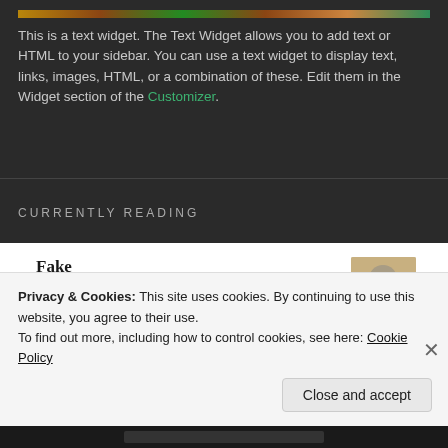[Figure (photo): Top decorative image bar with food/nature imagery]
This is a text widget. The Text Widget allows you to add text or HTML to your sidebar. You can use a text widget to display text, links, images, HTML, or a combination of these. Edit them in the Widget section of the Customizer.
CURRENTLY READING
Fake
by Kylie Scott
Dirty English
by Ilsa Madden-Mills
Privacy & Cookies: This site uses cookies. By continuing to use this website, you agree to their use.
To find out more, including how to control cookies, see here: Cookie Policy
Close and accept